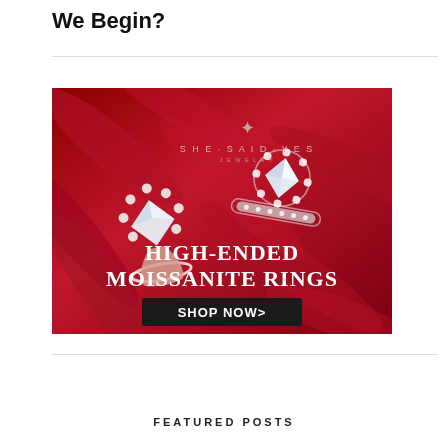We Begin?
[Figure (photo): Advertisement for SheSaidYes Jewelry featuring two moissanite rings on a red feathered background. Text reads HIGH-ENDED MOISSANITE RINGS with a SHOP NOW button.]
FEATURED POSTS